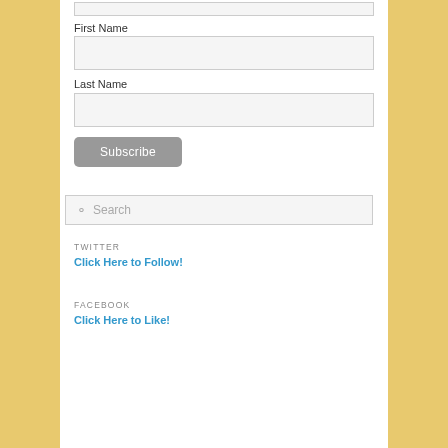First Name
[Figure (other): Empty form input box for First Name field]
Last Name
[Figure (other): Empty form input box for Last Name field]
Subscribe
[Figure (other): Search box with placeholder text 'Search' and magnifying glass icon]
TWITTER
Click Here to Follow!
FACEBOOK
Click Here to Like!